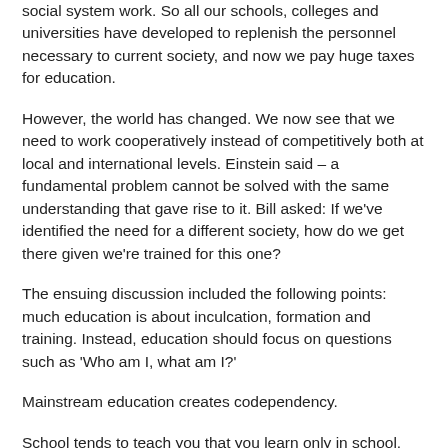social system work. So all our schools, colleges and universities have developed to replenish the personnel necessary to current society, and now we pay huge taxes for education.
However, the world has changed. We now see that we need to work cooperatively instead of competitively both at local and international levels. Einstein said – a fundamental problem cannot be solved with the same understanding that gave rise to it. Bill asked: If we've identified the need for a different society, how do we get there given we're trained for this one?
The ensuing discussion included the following points: much education is about inculcation, formation and training. Instead, education should focus on questions such as 'Who am I, what am I?'
Mainstream education creates codependency.
School tends to teach you that you learn only in school. Jackie challenges this as she home educates her children. This is a growing movement across Britain. She said: I'm